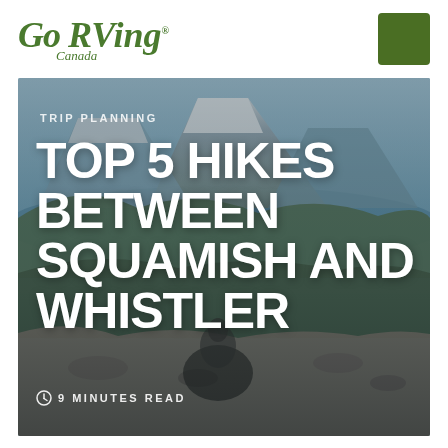[Figure (logo): Go RVing Canada logo in green italic serif font with registered trademark symbol]
[Figure (illustration): Green square decorative element in top right corner]
[Figure (photo): Hero photo of a hiker crouching on rocky terrain with mountains and blue lake/sky in background]
TRIP PLANNING
TOP 5 HIKES BETWEEN SQUAMISH AND WHISTLER
9 MINUTES READ